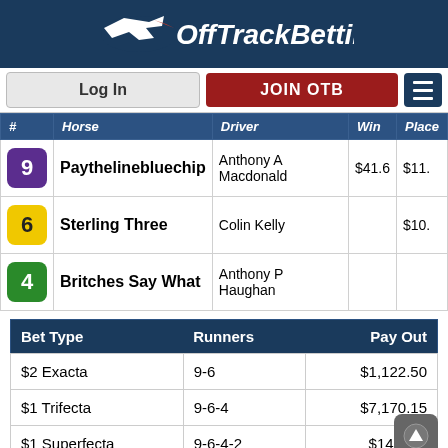OffTrackBetting
| # | Horse | Driver | Win | Place |
| --- | --- | --- | --- | --- |
| 9 | Paythelinebluechip | Anthony A Macdonald | $41.6 | $11. |
| 6 | Sterling Three | Colin Kelly |  | $10. |
| 4 | Britches Say What | Anthony P Haughan |  |  |
| Bet Type | Runners | Pay Out |
| --- | --- | --- |
| $2 Exacta | 9-6 | $1,122.50 |
| $1 Trifecta | 9-6-4 | $7,170.15 |
| $1 Superfecta | 9-6-4-2 | $14,772. |